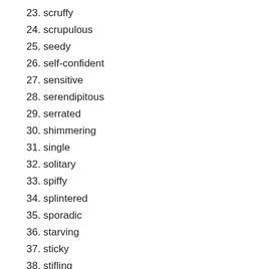23. scruffy
24. scrupulous
25. seedy
26. self-confident
27. sensitive
28. serendipitous
29. serrated
30. shimmering
31. single
32. solitary
33. spiffy
34. splintered
35. sporadic
36. starving
37. sticky
38. stifling
39. stylish